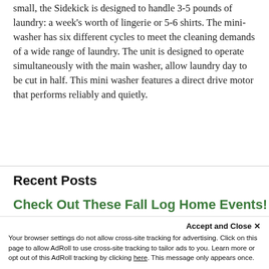small, the Sidekick is designed to handle 3-5 pounds of laundry: a week's worth of lingerie or 5-6 shirts. The mini-washer has six different cycles to meet the cleaning demands of a wide range of laundry. The unit is designed to operate simultaneously with the main washer, allow laundry day to be cut in half. This mini washer features a direct drive motor that performs reliably and quietly.
Recent Posts
Check Out These Fall Log Home Events!
Your browser settings do not allow cross-site tracking for advertising. Click on this page to allow AdRoll to use cross-site tracking to tailor ads to you. Learn more or opt out of this AdRoll tracking by clicking here. This message only appears once.